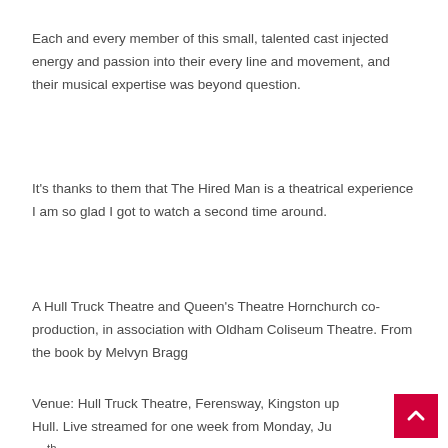Each and every member of this small, talented cast injected energy and passion into their every line and movement, and their musical expertise was beyond question.
It's thanks to them that The Hired Man is a theatrical experience I am so glad I got to watch a second time around.
A Hull Truck Theatre and Queen's Theatre Hornchurch co-production, in association with Oldham Coliseum Theatre. From the book by Melvyn Bragg
Venue: Hull Truck Theatre, Ferensway, Kingston upon Hull. Live streamed for one week from Monday, Jun 15th 2020 at the Queen's Theatre Hornchurch...